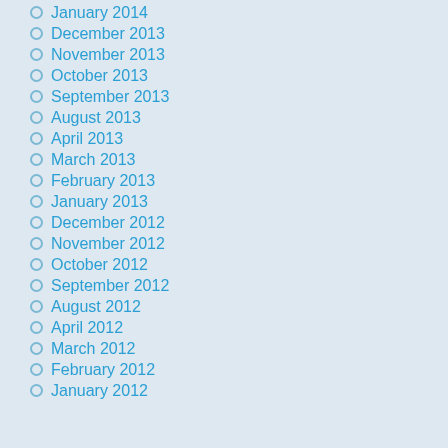January 2014
December 2013
November 2013
October 2013
September 2013
August 2013
April 2013
March 2013
February 2013
January 2013
December 2012
November 2012
October 2012
September 2012
August 2012
April 2012
March 2012
February 2012
January 2012